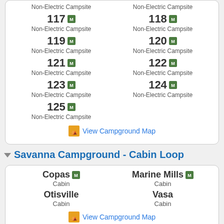Non-Electric Campsite — site numbers: (top partial) Non-Electric Campsite, Non-Electric Campsite
117 Non-Electric Campsite
118 Non-Electric Campsite
119 Non-Electric Campsite
120 Non-Electric Campsite
121 Non-Electric Campsite
122 Non-Electric Campsite
123 Non-Electric Campsite
124 Non-Electric Campsite
125 Non-Electric Campsite
View Campground Map
Savanna Campground - Cabin Loop
Copas Cabin
Marine Mills Cabin
Otisville Cabin
Vasa Cabin
View Campground Map